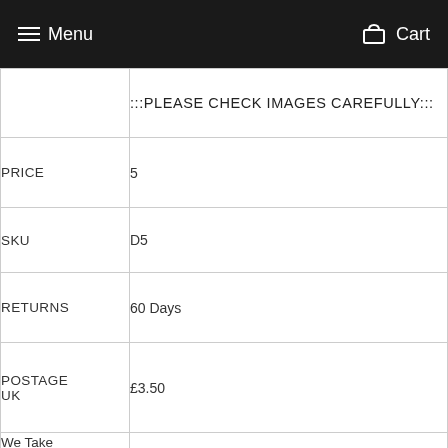Menu  Cart
|  | :::PLEASE CHECK IMAGES CAREFULLY::: |
| PRICE | 5 |
| SKU | D5 |
| RETURNS | 60 Days |
| POSTAGE UK | £3.50 |
| We Take Care In Our Packaging At Dads Records we |  |